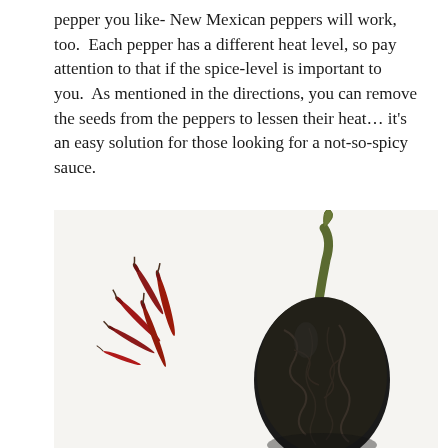pepper you like- New Mexican peppers will work, too. Each pepper has a different heat level, so pay attention to that if the spice-level is important to you. As mentioned in the directions, you can remove the seeds from the peppers to lessen their heat... it's an easy solution for those looking for a not-so-spicy sauce.
[Figure (photo): Photograph of two types of dried peppers on a white background: several small thin red dried chili peppers on the left, and one large dark/black dried ancho or mulato pepper with a long curved stem on the right.]